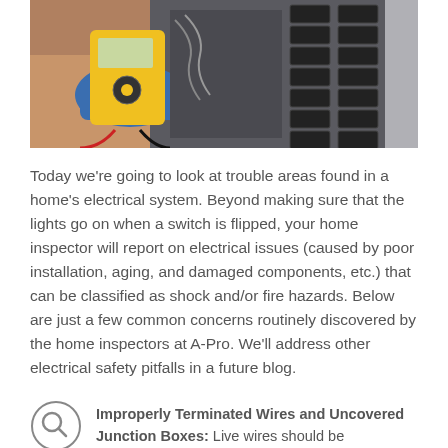[Figure (photo): Person holding a yellow digital multimeter with probes measuring inside an open electrical panel/breaker box. Gloved hands visible, circuit breakers visible in background.]
Today we're going to look at trouble areas found in a home's electrical system. Beyond making sure that the lights go on when a switch is flipped, your home inspector will report on electrical issues (caused by poor installation, aging, and damaged components, etc.) that can be classified as shock and/or fire hazards. Below are just a few common concerns routinely discovered by the home inspectors at A-Pro. We'll address other electrical safety pitfalls in a future blog.
Improperly Terminated Wires and Uncovered Junction Boxes: Live wires should be